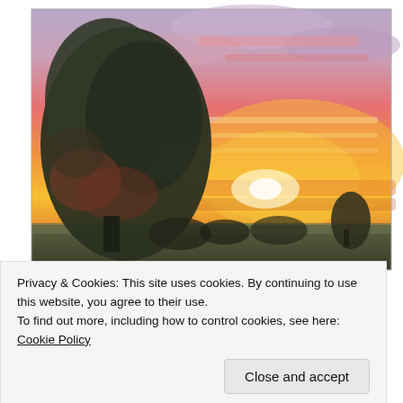[Figure (illustration): Oil painting of a sunset landscape with dark silhouetted trees on the left against a vivid orange-yellow and pink-purple sky. A flat green field in the foreground with small distant figures on the right.]
Privacy & Cookies: This site uses cookies. By continuing to use this website, you agree to their use.
To find out more, including how to control cookies, see here: Cookie Policy
Close and accept
Gathering was a triumph of spirit. Roughly 665 pieces of art